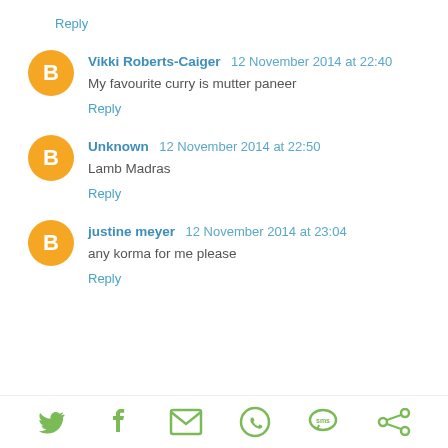Reply
Vikki Roberts-Caiger 12 November 2014 at 22:40
My favourite curry is mutter paneer
Reply
Unknown 12 November 2014 at 22:50
Lamb Madras
Reply
justine meyer 12 November 2014 at 23:04
any korma for me please
Reply
[Figure (infographic): Social share bar with icons for Twitter, Facebook, Email, WhatsApp, SMS, and another share service]